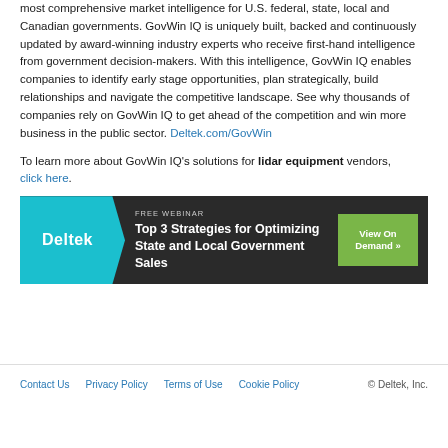most comprehensive market intelligence for U.S. federal, state, local and Canadian governments. GovWin IQ is uniquely built, backed and continuously updated by award-winning industry experts who receive first-hand intelligence from government decision-makers. With this intelligence, GovWin IQ enables companies to identify early stage opportunities, plan strategically, build relationships and navigate the competitive landscape. See why thousands of companies rely on GovWin IQ to get ahead of the competition and win more business in the public sector. Deltek.com/GovWin
To learn more about GovWin IQ's solutions for lidar equipment vendors, click here.
[Figure (infographic): Deltek banner ad: FREE WEBINAR - Top 3 Strategies for Optimizing State and Local Government Sales. View On Demand button.]
Contact Us   Privacy Policy   Terms of Use   Cookie Policy   © Deltek, Inc.